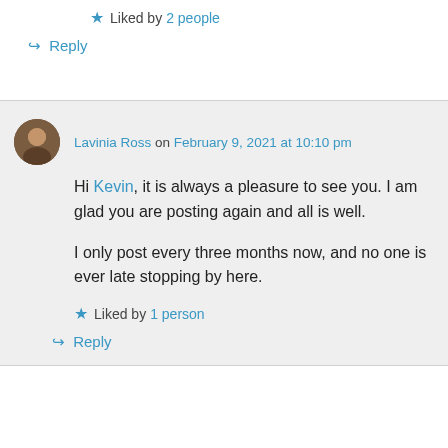Liked by 2 people
↪ Reply
Lavinia Ross on February 9, 2021 at 10:10 pm
Hi Kevin, it is always a pleasure to see you. I am glad you are posting again and all is well.
I only post every three months now, and no one is ever late stopping by here.
Liked by 1 person
↪ Reply